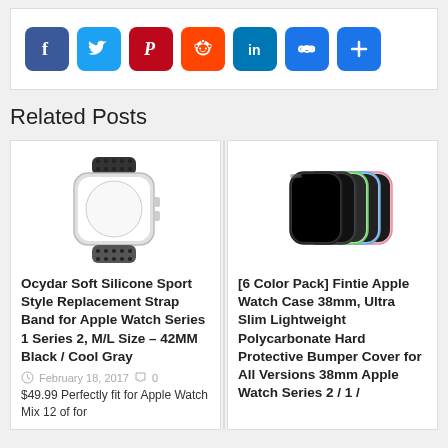[Figure (infographic): Social share buttons: Facebook (blue), Twitter (light blue), Pinterest (dark red), Reddit (orange-red), LinkedIn (blue), Link/Copy (blue), Share/Add (blue)]
Related Posts
[Figure (photo): Apple Watch with black/cool gray silicone sport band]
Ocydar Soft Silicone Sport Style Replacement Strap Band for Apple Watch Series 1 Series 2, M/L Size – 42MM Black / Cool Gray
February 18, 2017   0
$49.99 Perfectly fit for Apple Watch Mix 12 of for
[Figure (photo): Six Apple Watch cases in various colors (black, green, blue, pink) fanned out]
[6 Color Pack] Fintie Apple Watch Case 38mm, Ultra Slim Lightweight Polycarbonate Hard Protective Bumper Cover for All Versions 38mm Apple Watch Series 2 / 1 /